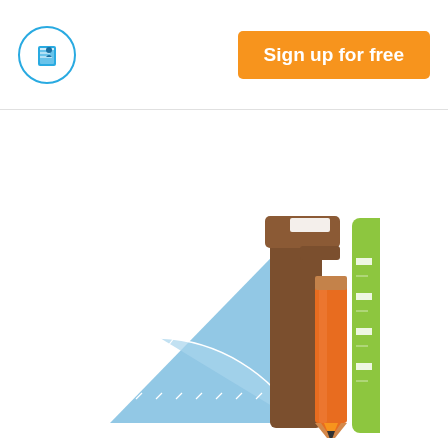[Figure (logo): Blue circular logo with book/education icon]
Sign up for free
[Figure (illustration): Education tools illustration: blue set square/protractor, brown caliper/tool, orange pencil, green ruler]